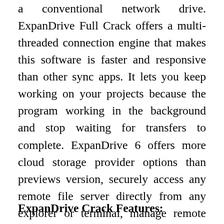a conventional network drive. ExpanDrive Full Crack offers a multi-threaded connection engine that makes this software is faster and responsive than other sync apps. It lets you keep working on your projects because the program working in the background and stop waiting for transfers to complete. ExpanDrive 6 offers more cloud storage provider options than previews version, securely access any remote file server directly from any explorer or terminal, manage remote files as if they were stored locally even all applications can access data.
ExpanDrive Crack Features: